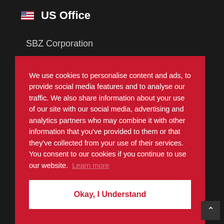US Office
SBZ Corporation
We use cookies to personalise content and ads, to provide social media features and to analyse our traffic. We also share information about your use of our site with our social media, advertising and analytics partners who may combine it with other information that you've provided to them or that they've collected from your use of their services. You consent to our cookies if you continue to use our website. Learn more
Okay, I Understand